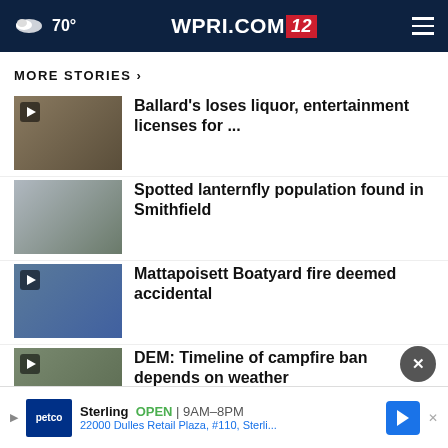70° WPRI.COM/12
MORE STORIES ›
Ballard's loses liquor, entertainment licenses for ...
Spotted lanternfly population found in Smithfield
Mattapoisett Boatyard fire deemed accidental
DEM: Timeline of campfire ban depends on weather
Sterling  OPEN  9AM–8PM  22000 Dulles Retail Plaza, #110, Sterli...